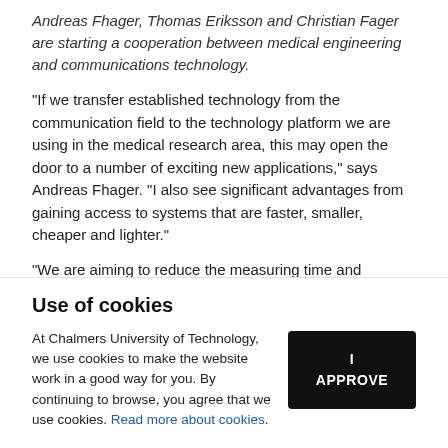Andreas Fhager, Thomas Eriksson and Christian Fager are starting a cooperation between medical engineering and communications technology.
"If we transfer established technology from the communication field to the technology platform we are using in the medical research area, this may open the door to a number of exciting new applications," says Andreas Fhager. "I also see significant advantages from gaining access to systems that are faster, smaller, cheaper and lighter."
"We are aiming to reduce the measuring time and improve
Use of cookies
At Chalmers University of Technology, we use cookies to make the website work in a good way for you. By continuing to browse, you agree that we use cookies. Read more about cookies.